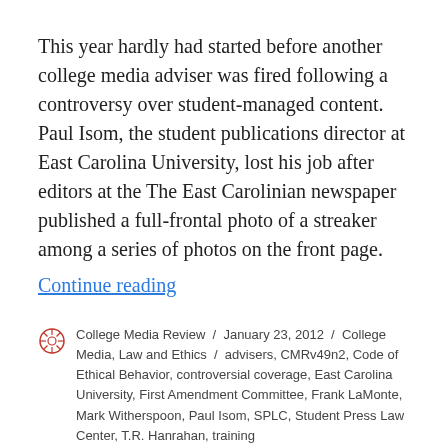This year hardly had started before another college media adviser was fired following a controversy over student-managed content. Paul Isom, the student publications director at East Carolina University, lost his job after editors at the The East Carolinian newspaper published a full-frontal photo of a streaker among a series of photos on the front page.
Continue reading
College Media Review / January 23, 2012 / College Media, Law and Ethics / advisers, CMRv49n2, Code of Ethical Behavior, controversial coverage, East Carolina University, First Amendment Committee, Frank LaMonte, Mark Witherspoon, Paul Isom, SPLC, Student Press Law Center, T.R. Hanrahan, training